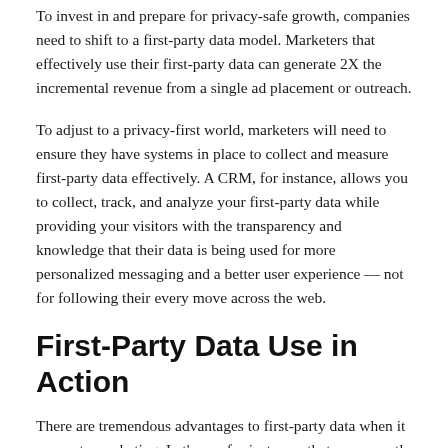To invest in and prepare for privacy-safe growth, companies need to shift to a first-party data model. Marketers that effectively use their first-party data can generate 2X the incremental revenue from a single ad placement or outreach.
To adjust to a privacy-first world, marketers will need to ensure they have systems in place to collect and measure first-party data effectively. A CRM, for instance, allows you to collect, track, and analyze your first-party data while providing your visitors with the transparency and knowledge that their data is being used for more personalized messaging and a better user experience — not for following their every move across the web.
First-Party Data Use in Action
There are tremendous advantages to first-party data when it comes to marketing. Let's say, for instance, that you recently eyed a Casper pillow, filled out a form with your email, but got